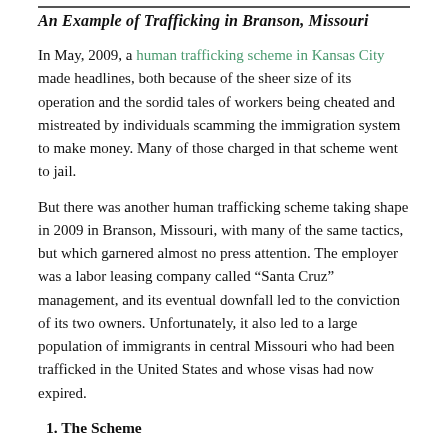An Example of Trafficking in Branson, Missouri
In May, 2009, a human trafficking scheme in Kansas City made headlines, both because of the sheer size of its operation and the sordid tales of workers being cheated and mistreated by individuals scamming the immigration system to make money. Many of those charged in that scheme went to jail.
But there was another human trafficking scheme taking shape in 2009 in Branson, Missouri, with many of the same tactics, but which garnered almost no press attention. The employer was a labor leasing company called “Santa Cruz” management, and its eventual downfall led to the conviction of its two owners. Unfortunately, it also led to a large population of immigrants in central Missouri who had been trafficked in the United States and whose visas had now expired.
1. The Scheme
The H-2B visa system allows US employers to hire foreign workers for seasonal work if they can prove that